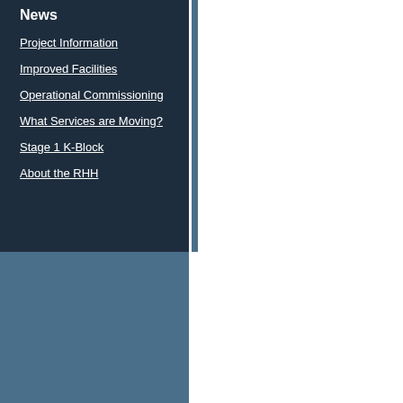News
Project Information
Improved Facilities
Operational Commissioning
What Services are Moving?
Stage 1 K-Block
About the RHH
Three respected Tasmanian b... awarded sub-contracts for the...
Hazell Bros Group Pty Ltd, Ho... $7.1 million in tenders.
This will help stimulate the loc...
Hazell Bros have won the $4.6...
Hazell Bros managing director... the hospital site for the duratio...
“Over recent years, Hazell Bro... Hospital and we have now bee... redevelopment works," Mr Ha...
“As a Tasmanian company we... closely with all parties to delive...
Howrah Plumbing will complet...
This will include alterations an...